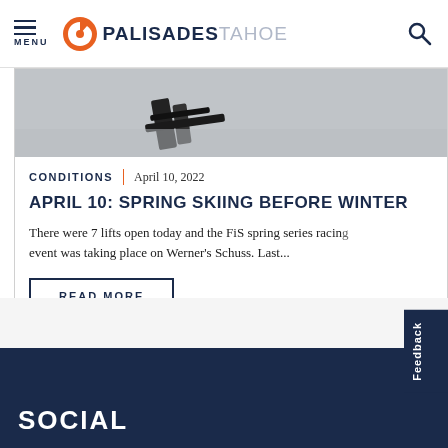MENU | PALISADES TAHOE
[Figure (photo): Close-up photo of ski bindings on snow/ice surface]
CONDITIONS | April 10, 2022
APRIL 10: SPRING SKIING BEFORE WINTER
There were 7 lifts open today and the FiS spring series racing event was taking place on Werner's Schuss. Last...
READ MORE
SOCIAL